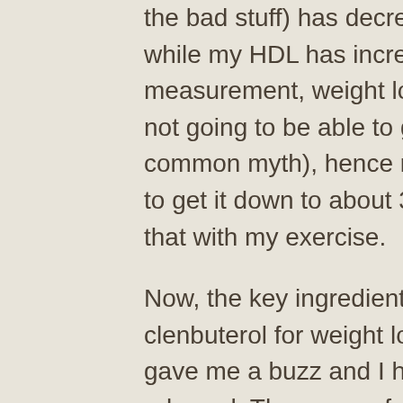the bad stuff) has decreased from 170+ to 50-58 +, while my HDL has increased from 0-10+ on the last measurement, weight loss on clenbuterol. But I am still not going to be able to get rid of my fat completely (a common myth), hence my goal for eating that day was to get it down to about 30g (or less), and to maintain that with my exercise.
Now, the key ingredient is Malay Tiger, when to use clenbuterol for weight loss. When I took the product, it gave me a buzz and I had no anxiety, clenbuterol rebound. The reason for this was that when I had consumed this product on the last day, I didn't experience any of the following effects: It helped to increase my metabolic rate. This means I was able to burn more glycogen, best clenbuterol cycle for fat loss. But then, the second thing was to decrease my cholesterol. The thing is, I didn't experience any of these negative effects. Instead, my